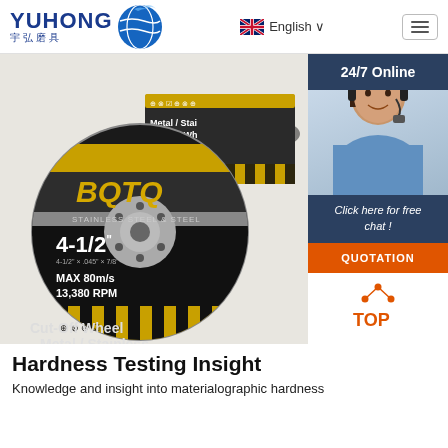[Figure (logo): YUHONG 宇弘磨具 logo with blue wave/globe icon]
English ∨
[Figure (photo): BQTQ 4-1/2 inch Metal/Stainless Cut-Off Wheel grinding discs, MAX 80m/s 13,380 RPM, stacked product shot]
24/7 Online
[Figure (photo): Customer service representative woman with headset smiling]
Click here for free chat !
QUOTATION
[Figure (other): TOP navigation icon with red dots forming triangle and red TOP text]
Hardness Testing Insight
Knowledge and insight into materialographic hardness